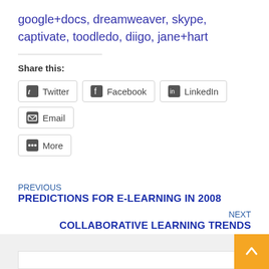google+docs, dreamweaver, skype, captivate, toodledo, diigo, jane+hart
Share this:
[Figure (screenshot): Social share buttons: Twitter, Facebook, LinkedIn, Email, More]
PREVIOUS
PREDICTIONS FOR E-LEARNING IN 2008
NEXT
COLLABORATIVE LEARNING TRENDS